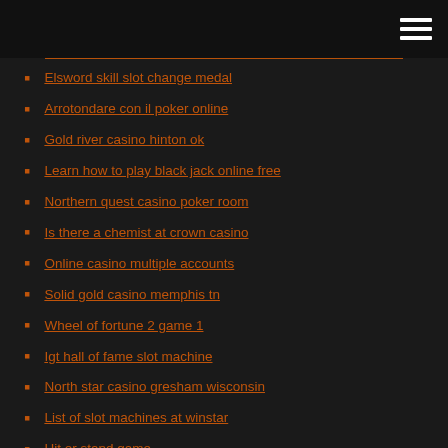Elsword skill slot change medal
Arrotondare con il poker online
Gold river casino hinton ok
Learn how to play black jack online free
Northern quest casino poker room
Is there a chemist at crown casino
Online casino multiple accounts
Solid gold casino memphis tn
Wheel of fortune 2 game 1
Igt hall of fame slot machine
North star casino gresham wisconsin
List of slot machines at winstar
Hit or stand game
How to open mills slot machine without key